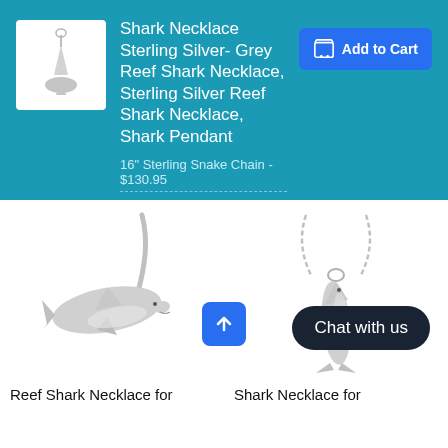[Figure (photo): Small thumbnail of a shark pendant necklace on white background]
Shark Necklace Sterling Silver- Grey Reef Shark Necklace, Sterling Silver Reef Shark Necklace, Shark Pendant
16" Sterling Snake Chain - $130.95
Add to Cart
[Figure (photo): Silver reef shark pendant necklace on snake chain, shark facing left, product photo on white background]
[Figure (photo): Silver shark necklace on chain, shark pendant facing downward, product photo on white background]
Chat with us
Reef Shark Necklace for
Shark Necklace for